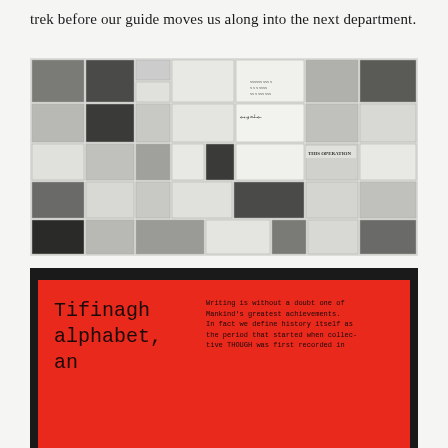trek before our guide moves us along into the next department.
[Figure (photo): A collage of black and white images of various scripts, manuscripts, tablets, and writing systems displayed on a wall or board.]
[Figure (photo): A framed display with a red background showing the text 'Tifinagh alphabet, an' in monospace typewriter font on the left, and a paragraph of typewriter text on the right beginning 'Writing is without a doubt one of Mankind's greatest achievements. In fact we define history itself as the period that started when collective THOUGH was first recorded in...']